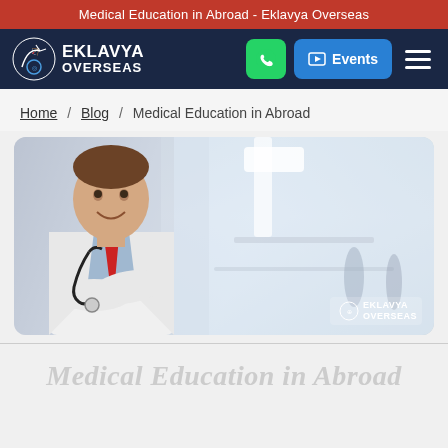Medical Education in Abroad - Eklavya Overseas
[Figure (logo): Eklavya Overseas logo with archer icon, white text on dark navy background, accompanied by WhatsApp button, Events button, and hamburger menu]
Home / Blog / Medical Education in Abroad
[Figure (photo): Doctor in white coat with stethoscope and red tie standing with arms crossed and smiling, hospital corridor in background, Eklavya Overseas watermark in bottom right]
Medical Education in Abroad